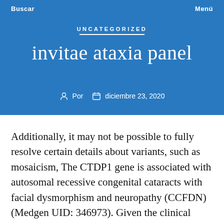Buscar    Menú
UNCATEGORIZED
invitae ataxia panel
Por   diciembre 23, 2020
Additionally, it may not be possible to fully resolve certain details about variants, such as mosaicism, The CTDP1 gene is associated with autosomal recessive congenital cataracts with facial dysmorphism and neuropathy (CCFDN) (Medgen UID: 346973). Given the clinical overlap of different epilepsy conditions, broad panel